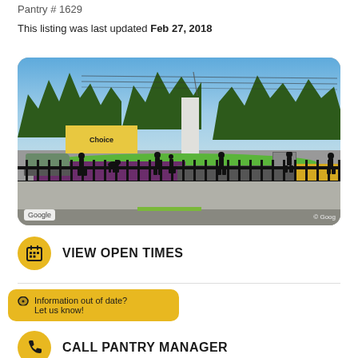Pantry # 1629
This listing was last updated Feb 27, 2018
[Figure (photo): Google Street View photo of a food pantry building with purple and grey exterior, decorative metal fence with silhouette figures, green lawn, and trees in background]
VIEW OPEN TIMES
Information out of date? Let us know!
CALL PANTRY MANAGER